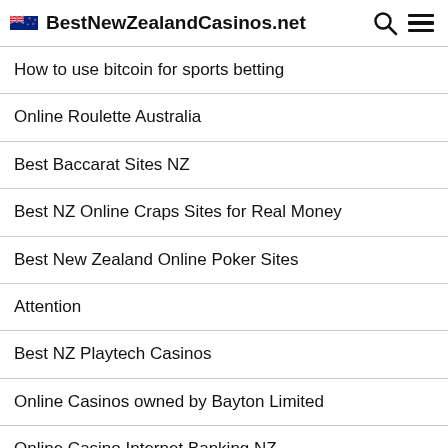BestNewZealandCasinos.net
How to use bitcoin for sports betting
Online Roulette Australia
Best Baccarat Sites NZ
Best NZ Online Craps Sites for Real Money
Best New Zealand Online Poker Sites
Attention
Best NZ Playtech Casinos
Online Casinos owned by Bayton Limited
Online Casino Internet Banking NZ
Top NZ Online Gambling Sites for Tablets
Best Apple Pay Casinos NZ